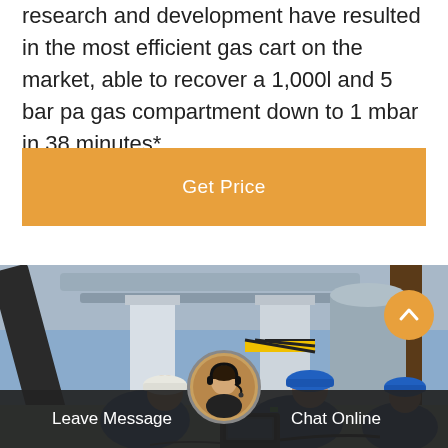research and development have resulted in the most efficient gas cart on the market, able to recover a 1,000l and 5 bar pa gas compartment down to 1 mbar in 38 minutes*.
[Figure (other): Orange 'Get Price' button]
[Figure (photo): Workers in blue overalls and blue/white hard hats crouching on an industrial floor with pipes and equipment, using a laptop, in an industrial facility.]
Leave Message   Chat Online